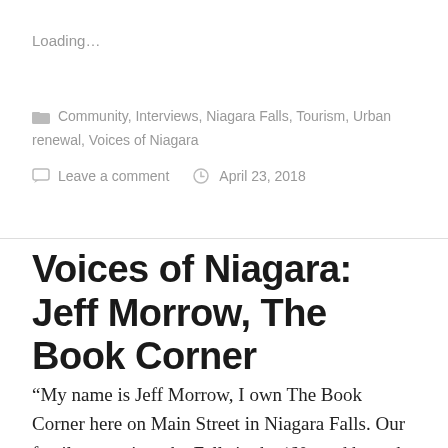Loading…
Community, Interviews, Niagara Falls, Tourism, Urban renewal, Voices of Niagara
Leave a comment   April 23, 2018
Voices of Niagara: Jeff Morrow, The Book Corner
“My name is Jeff Morrow, I own The Book Corner here on Main Street in Niagara Falls. Our family came into the Falls in the ’60s and brought this store, the Book Corner. I…